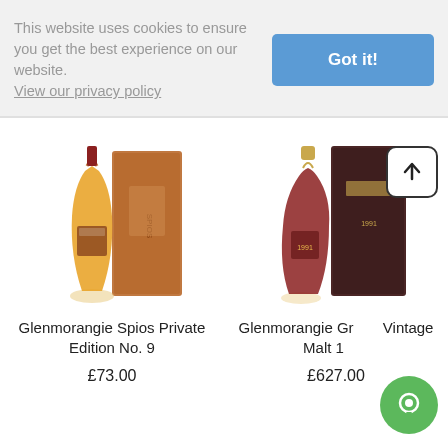This website uses cookies to ensure you get the best experience on our website. View our privacy policy
Got it!
[Figure (photo): Glenmorangie Spios bottle with box]
Glenmorangie Spios Private Edition No. 9
£73.00
[Figure (photo): Glenmorangie Grand Vintage Malt 1991 bottle with box]
Glenmorangie Grand Vintage Malt 1
£627.00